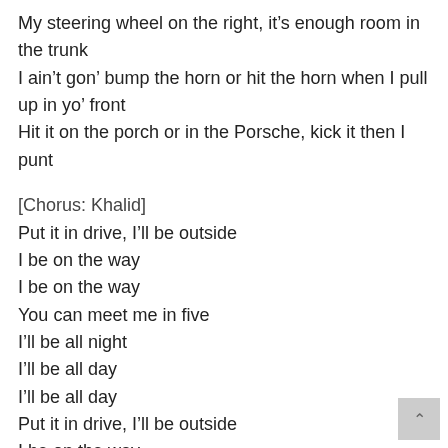My steering wheel on the right, it's enough room in the trunk
I ain't gon' bump the horn or hit the horn when I pull up in yo' front
Hit it on the porch or in the Porsche, kick it then I punt
[Chorus: Khalid]
Put it in drive, I'll be outside
I be on the way
I be on the way
You can meet me in five
I'll be all night
I'll be all day
I'll be all day
Put it in drive, I'll be outside
I be on the way
I be on the way